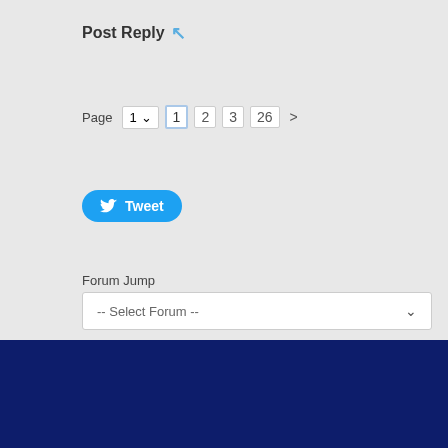Post Reply
Page 1 2 3 26 >
[Figure (other): Tweet button with Twitter bird icon]
Forum Jump
-- Select Forum --
Fishing Advice
How to Catch
Fishing Reports
F...